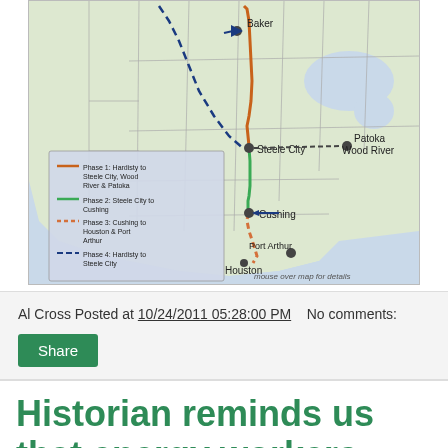[Figure (map): Map of the Keystone XL pipeline route showing multiple phases: Phase 1 (Hardisty to Steele City, Wood River & Patoka), Phase 2 (Steele City to Cushing), Phase 3 (Cushing to Houston & Port Arthur), Phase 4 (Hardisty to Steele City). Also shows Canadian crude oil reserves, American crude oil reserves, and Keystone Hardisty Terminals. Key locations labeled: Baker, Steele City, Patoka/Wood River, Cushing, Port Arthur, Houston. Note: 'mouse over map for details'.]
Al Cross Posted at 10/24/2011 05:28:00 PM    No comments:
Share
Historian reminds us that energy workers and environmentalists haven't